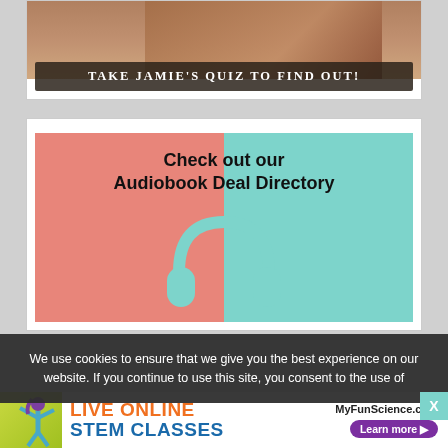[Figure (illustration): Top card showing a quiz promotional banner with dark overlay text reading TAKE JAMIE'S QUIZ TO FIND OUT! over a photo of a person.]
[Figure (illustration): Audiobook Deal Directory promotional image with split pink/teal background, bold black text saying Check out our Audiobook Deal Directory, and teal headphones centered at bottom.]
We use cookies to ensure that we give you the best experience on our website. If you continue to use this site, you consent to the use of
[Figure (illustration): Advertisement for MyFunScience.com featuring Live Online STEM Classes with a cartoon girl graphic and Learn more button.]